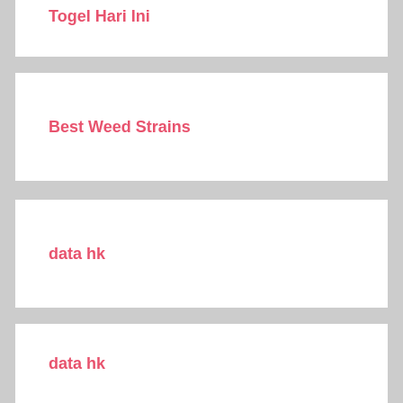Togel Hari Ini
Best Weed Strains
data hk
data hk